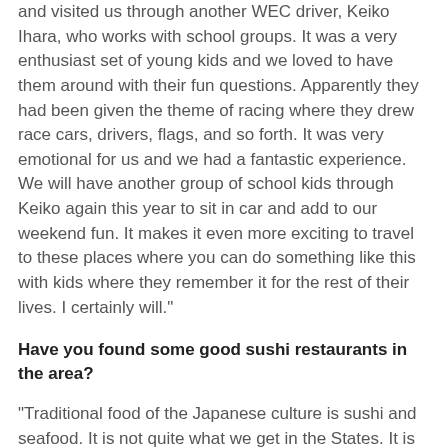and visited us through another WEC driver, Keiko Ihara, who works with school groups. It was a very enthusiast set of young kids and we loved to have them around with their fun questions. Apparently they had been given the theme of racing where they drew race cars, drivers, flags, and so forth. It was very emotional for us and we had a fantastic experience. We will have another group of school kids through Keiko again this year to sit in car and add to our weekend fun. It makes it even more exciting to travel to these places where you can do something like this with kids where they remember it for the rest of their lives. I certainly will."
Have you found some good sushi restaurants in the area?
"Traditional food of the Japanese culture is sushi and seafood. It is not quite what we get in the States. It is perhaps a little different and more flavorful. We found a few places, including one I remembered from 16 years ago. We'll be back again this year."